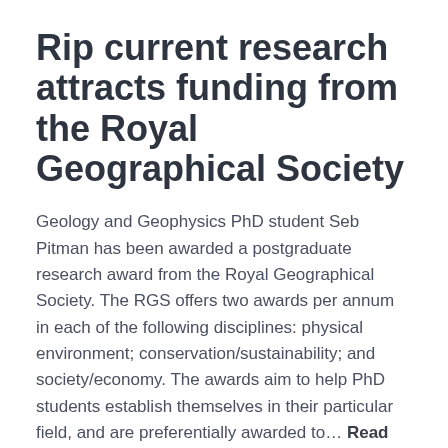Rip current research attracts funding from the Royal Geographical Society
Geology and Geophysics PhD student Seb Pitman has been awarded a postgraduate research award from the Royal Geographical Society. The RGS offers two awards per annum in each of the following disciplines: physical environment; conservation/sustainability; and society/economy. The awards aim to help PhD students establish themselves in their particular field, and are preferentially awarded to… Read More
March 7, 2014    Shari Gallop
Fieldwork in Cabras